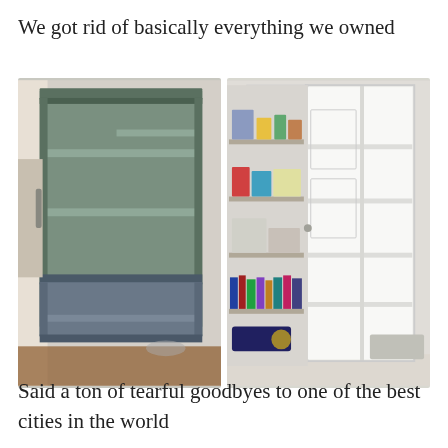We got rid of basically everything we owned
[Figure (photo): Two photos side by side showing empty bookshelves and a white wardrobe cabinet. Left photo shows a green-gray painted bookcase with all shelves empty. Right photo shows a white tall cabinet with open door revealing empty shelves, and a cluttered bookshelf next to it with books and items.]
Said a ton of tearful goodbyes to one of the best cities in the world